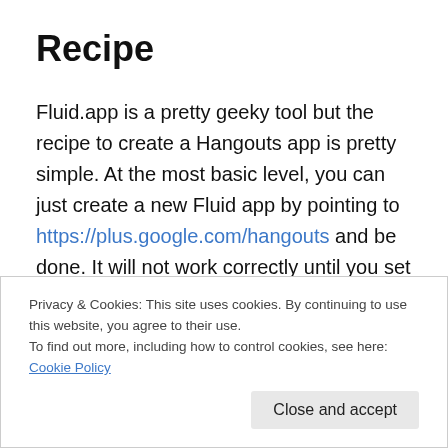Recipe
Fluid.app is a pretty geeky tool but the recipe to create a Hangouts app is pretty simple. At the most basic level, you can just create a new Fluid app by pointing to https://plus.google.com/hangouts and be done. It will not work correctly until you set user agent string for your new Hangouts.app to be Safari 7 but once you do that, it will work fine. You can use the Hangouts logo at the top of this
Privacy & Cookies: This site uses cookies. By continuing to use this website, you agree to their use.
To find out more, including how to control cookies, see here: Cookie Policy
Close and accept